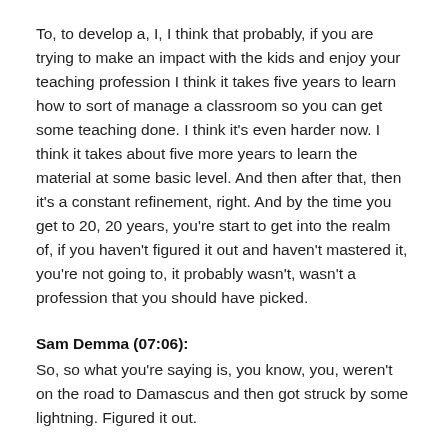To, to develop a, I, I think that probably, if you are trying to make an impact with the kids and enjoy your teaching profession I think it takes five years to learn how to sort of manage a classroom so you can get some teaching done. I think it's even harder now. I think it takes about five more years to learn the material at some basic level. And then after that, then it's a constant refinement, right. And by the time you get to 20, 20 years, you're start to get into the realm of, if you haven't figured it out and haven't mastered it, you're not going to, it probably wasn't, wasn't a profession that you should have picked.
Sam Demma (07:06): So, so what you're saying is, you know, you, weren't on the road to Damascus and then got struck by some lightning. Figured it out.